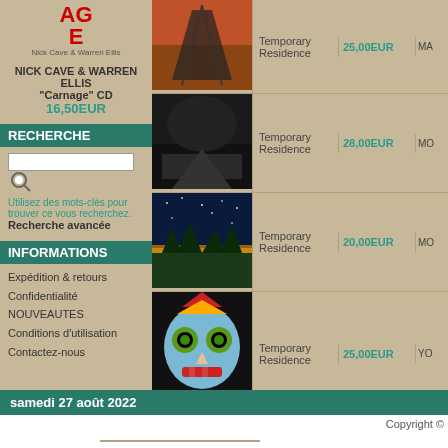[Figure (screenshot): Nick Cave & Warren Ellis Carnage album cover partial view showing AGE text in red]
NICK CAVE & WARREN ELLIS
"Carnage" CD
16,50EUR
RECHERCHE
Utilisez des mots-clés pour trouver ce vous recherchez.
Recherche avancée
INFORMATIONS
Expédition & retours
Confidentialité
NOUVEAUTES
Conditions d'utilisation
Contactez-nous
| Image | Label | Price | Ref |
| --- | --- | --- | --- |
| [album art] | Temporary Residence | 25,00EUR | MA |
| [album art] | Temporary Residence | 28,00EUR | MO |
| [album art] | Temporary Residence | 20,00EUR | MO |
| [album art] | Temporary Residence | 25,00EUR | YO |
Afficher 1 à 6 (sur 6 articles)
samedi 27 août 2022
Copyright ©